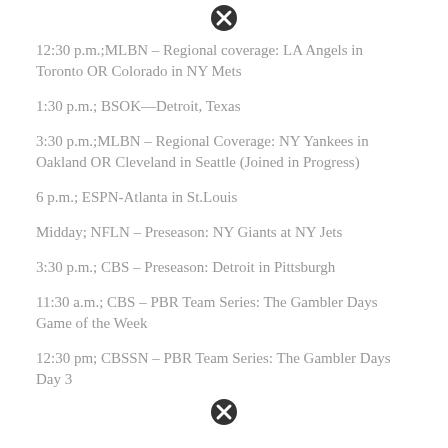[Figure (other): Close/cancel icon (circled X) at top]
12:30 p.m.;MLBN – Regional coverage: LA Angels in Toronto OR Colorado in NY Mets
1:30 p.m.; BSOK—Detroit, Texas
3:30 p.m.;MLBN – Regional Coverage: NY Yankees in Oakland OR Cleveland in Seattle (Joined in Progress)
6 p.m.; ESPN-Atlanta in St.Louis
Midday; NFLN – Preseason: NY Giants at NY Jets
3:30 p.m.; CBS – Preseason: Detroit in Pittsburgh
11:30 a.m.; CBS – PBR Team Series: The Gambler Days Game of the Week
12:30 pm; CBSSN – PBR Team Series: The Gambler Days Day 3
[Figure (other): Close/cancel icon (circled X) at bottom]